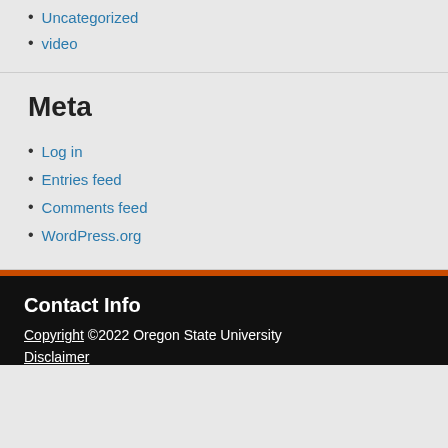Uncategorized
video
Meta
Log in
Entries feed
Comments feed
WordPress.org
Contact Info
Copyright ©2022 Oregon State University
Disclaimer